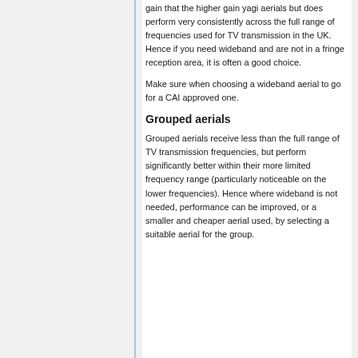gain that the higher gain yagi aerials but does perform very consistently across the full range of frequencies used for TV transmission in the UK. Hence if you need wideband and are not in a fringe reception area, it is often a good choice.
Make sure when choosing a wideband aerial to go for a CAI approved one.
Grouped aerials
Grouped aerials receive less than the full range of TV transmission frequencies, but perform significantly better within their more limited frequency range (particularly noticeable on the lower frequencies). Hence where wideband is not needed, performance can be improved, or a smaller and cheaper aerial used, by selecting a suitable aerial for the group.